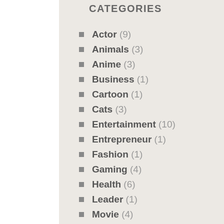CATEGORIES
Actor (9)
Animals (3)
Anime (3)
Business (1)
Cartoon (1)
Cats (3)
Entertainment (10)
Entrepreneur (1)
Fashion (1)
Gaming (4)
Health (6)
Leader (1)
Movie (4)
Music (164)